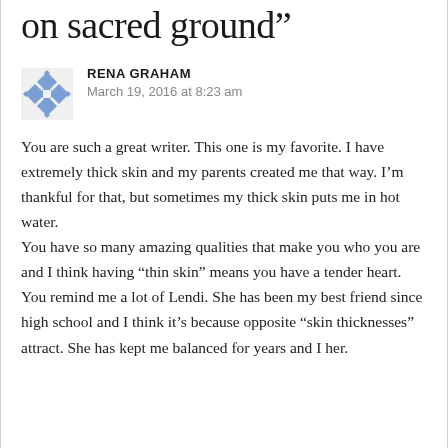on sacred ground”
RENA GRAHAM
March 19, 2016 at 8:23 am
You are such a great writer. This one is my favorite. I have extremely thick skin and my parents created me that way. I’m thankful for that, but sometimes my thick skin puts me in hot water.
You have so many amazing qualities that make you who you are and I think having “thin skin” means you have a tender heart. You remind me a lot of Lendi. She has been my best friend since high school and I think it’s because opposite “skin thicknesses” attract. She has kept me balanced for years and I her.